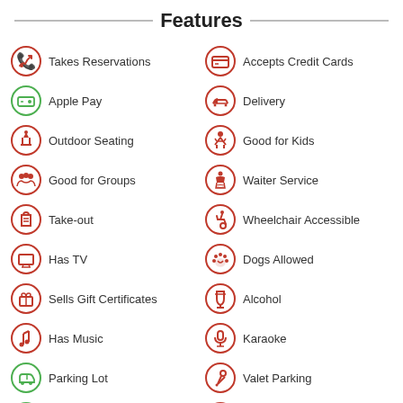Features
Takes Reservations
Accepts Credit Cards
Apple Pay
Delivery
Outdoor Seating
Good for Kids
Good for Groups
Waiter Service
Take-out
Wheelchair Accessible
Has TV
Dogs Allowed
Sells Gift Certificates
Alcohol
Has Music
Karaoke
Parking Lot
Valet Parking
Free Wifi
Smoking Allowed
Shower